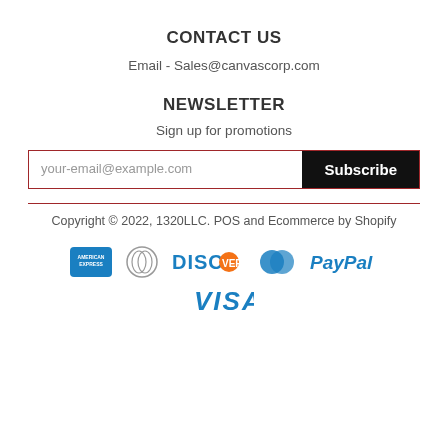CONTACT US
Email - Sales@canvascorp.com
NEWSLETTER
Sign up for promotions
[Figure (screenshot): Email input field with placeholder 'your-email@example.com' and a black 'Subscribe' button, surrounded by a dark red border]
Copyright © 2022, 1320LLC. POS and Ecommerce by Shopify
[Figure (infographic): Payment method icons: American Express, Diners Club, Discover, MasterCard, PayPal, Visa]